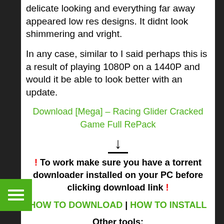delicate looking and everything far away appeared low res designs. It didnt look shimmering and vright.
In any case, similar to I said perhaps this is a result of playing 1080P on a 1440P and would it be able to look better with an update.
Download [Mega] – Racing Glider Cracked Game Full RePack
[Figure (other): Download arrow icon with horizontal line beneath it]
! To work make sure you have a torrent downloader installed on your PC before clicking download link !
HOW TO DOWNLOAD | HOW TO INSTALL
Other tools:
uTorrent -Torrent downloader